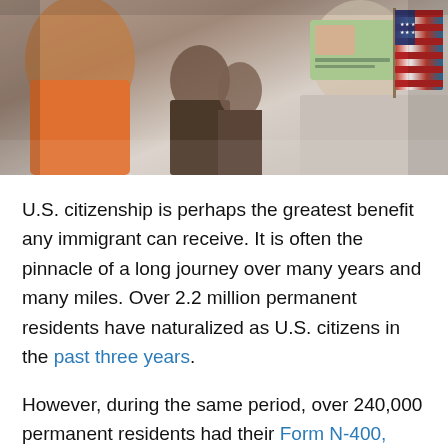[Figure (photo): A photo showing immigrants at a naturalization ceremony. A person holds up a green card document and a small American flag.]
U.S. citizenship is perhaps the greatest benefit any immigrant can receive. It is often the pinnacle of a long journey over many years and many miles. Over 2.2 million permanent residents have naturalized as U.S. citizens in the past three years.
However, during the same period, over 240,000 permanent residents had their Form N-400, Application for Naturalization, denied. In fact, the number of denials increased in every quarter of fiscal year 2021. The denial rate held steady; USCIS denies approximately 9.5 percent of all